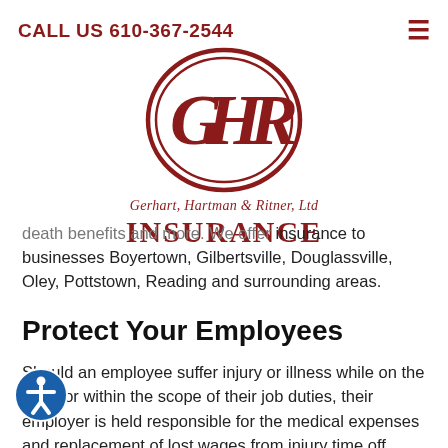CALL US 610-367-2544
[Figure (logo): GHR oval logo with letters G, H, R inside an oval border, dark red color. Below: 'Gerhart, Hartman & Ritner, Ltd' in italic and 'INSURANCE' in bold capitals, both in dark red.]
death benefits and more. We offer insurance to businesses Boyertown, Gilbertsville, Douglassville, Oley, Pottstown, Reading and surrounding areas.
Protect Your Employees
Should an employee suffer injury or illness while on the clock or within the scope of their job duties, their employer is held responsible for the medical expenses and replacement of lost wages from injury time off. Workers' compensation covers